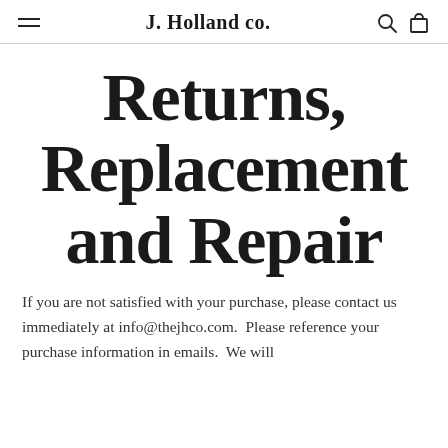J.Holland co.
Returns, Replacement and Repair
If you are not satisfied with your purchase, please contact us immediately at info@thejhco.com.  Please reference your purchase information in emails.  We will